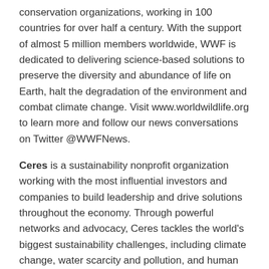conservation organizations, working in 100 countries for over half a century. With the support of almost 5 million members worldwide, WWF is dedicated to delivering science-based solutions to preserve the diversity and abundance of life on Earth, halt the degradation of the environment and combat climate change. Visit www.worldwildlife.org to learn more and follow our news conversations on Twitter @WWFNews.
Ceres is a sustainability nonprofit organization working with the most influential investors and companies to build leadership and drive solutions throughout the economy. Through powerful networks and advocacy, Ceres tackles the world's biggest sustainability challenges, including climate change, water scarcity and pollution, and human rights abuses. For more information, visit www.ceres.org and follow @CeresNews.
Calvert Research and Management is a leader in...